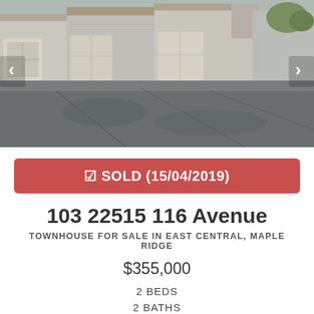[Figure (photo): Exterior photo of a townhouse complex with attached garages, white/beige siding, and a large paved driveway in the foreground. Navigation arrows visible on left and right edges.]
✅ SOLD (15/04/2019)
103 22515 116 Avenue
TOWNHOUSE FOR SALE IN EAST CENTRAL, MAPLE RIDGE
$355,000
2 BEDS
2 BATHS